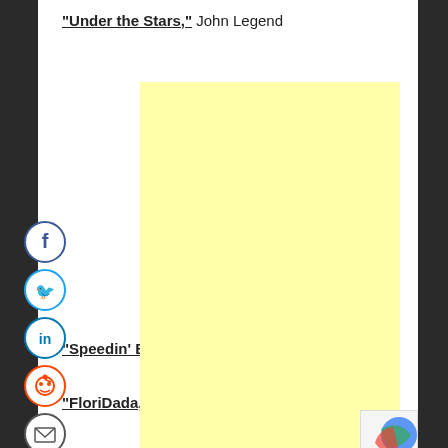“Under the Stars,” John Legend
[Figure (other): Yellow advertisement block placeholder]
[Figure (other): Social media sharing icons: Facebook, Twitter, LinkedIn, Reddit, Email]
“Speedin’ Bullet 2 Heaven,” Kid Cudi
“FloriDada,” Animal Collective
[Figure (other): reCAPTCHA widget partially visible in bottom right]
[Figure (other): Yellow bottom bar]
x